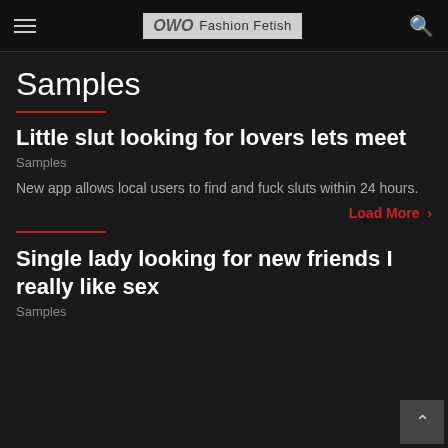Fashion Fetish
Samples
Little slut looking for lovers lets meet
Samples
New app allows local users to find and fuck sluts within 24 hours.
Load More →
Single lady looking for new friends I really like sex
Samples